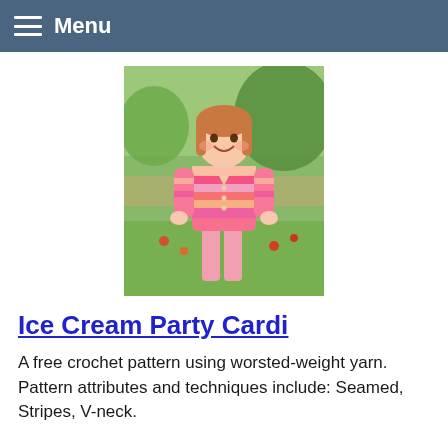Menu
[Figure (photo): Young girl wearing a colorful pink and striped crochet cardigan, standing outdoors on grass with trees in background]
Ice Cream Party Cardi
A free crochet pattern using worsted-weight yarn. Pattern attributes and techniques include: Seamed, Stripes, V-neck.